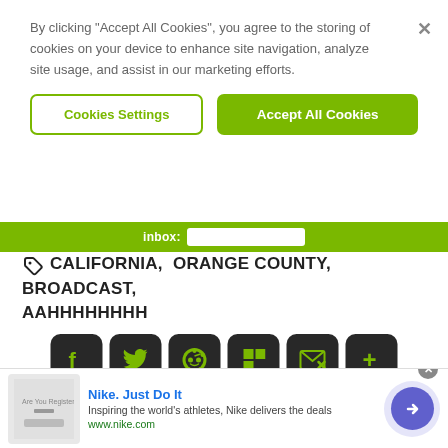By clicking “Accept All Cookies”, you agree to the storing of cookies on your device to enhance site navigation, analyze site usage, and assist in our marketing efforts.
[Figure (screenshot): Cookie consent banner with two buttons: 'Cookies Settings' (outlined) and 'Accept All Cookies' (green filled), and an X close button]
CALIFORNIA, ORANGE COUNTY, BROADCAST, AAHHHHHHHH
[Figure (screenshot): Row of six social media share buttons (Facebook, Twitter, Reddit, Flipboard, Email, More) in dark rounded square style with green icons, followed by a black 'DISCUSS (0 COMMENTS)' button]
[Figure (screenshot): Advertisement bar: Nike. Just Do It — Inspiring the world's athletes, Nike delivers the deals — www.nike.com]